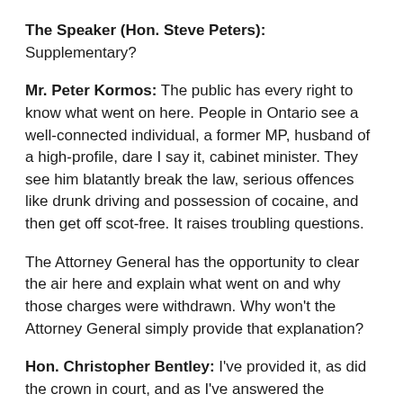The Speaker (Hon. Steve Peters): Supplementary?
Mr. Peter Kormos: The public has every right to know what went on here. People in Ontario see a well-connected individual, a former MP, husband of a high-profile, dare I say it, cabinet minister. They see him blatantly break the law, serious offences like drunk driving and possession of cocaine, and then get off scot-free. It raises troubling questions.
The Attorney General has the opportunity to clear the air here and explain what went on and why those charges were withdrawn. Why won't the Attorney General simply provide that explanation?
Hon. Christopher Bentley: I've provided it, as did the crown in court, and as I've answered the questions before.
But what would be interesting is to cast our mind back to when my friend practised in the courts, either in Welland or surrounding jurisdictions. One could imagine what his